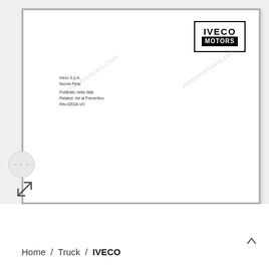[Figure (logo): IVECO MOTORS logo in black box, bold text]
Iveco S.p.A.
Nuova Peso
Publicato nella data
Related: del al Preventivo
Rev.0203A-V0
Home / Truck / IVECO